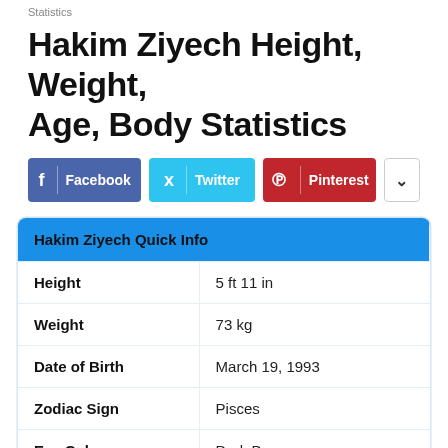Statistics
Hakim Ziyech Height, Weight, Age, Body Statistics
[Figure (infographic): Social share buttons: Facebook, Twitter, Pinterest, and a more/dropdown button]
| Hakim Ziyech Quick Info |  |
| --- | --- |
| Height | 5 ft 11 in |
| Weight | 73 kg |
| Date of Birth | March 19, 1993 |
| Zodiac Sign | Pisces |
| Eye Color | Dark Brown |